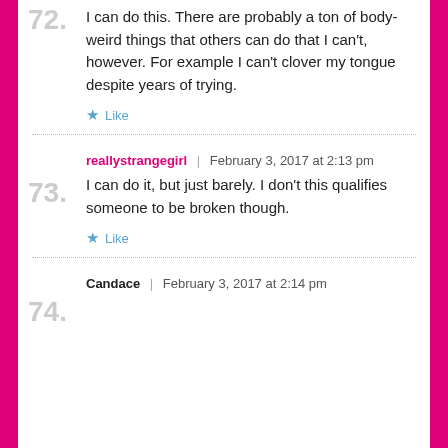72. I can do this. There are probably a ton of body-weird things that others can do that I can't, however. For example I can't clover my tongue despite years of trying. [Like]
73. reallystrangegirl | February 3, 2017 at 2:13 pm — I can do it, but just barely. I don't this qualifies someone to be broken though. [Like]
74. Candace | February 3, 2017 at 2:14 pm